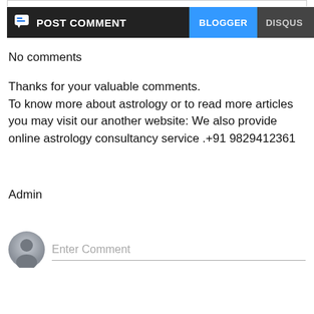[Figure (screenshot): Toolbar with POST COMMENT label on dark background, and BLOGGER (blue), DISQUS, FACEBOOK tabs]
No comments
Thanks for your valuable comments.
To know more about astrology or to read more articles you may visit our another website: We also provide online astrology consultancy service .+91 9829412361
Admin
[Figure (screenshot): Comment input area with avatar icon and Enter Comment placeholder text]